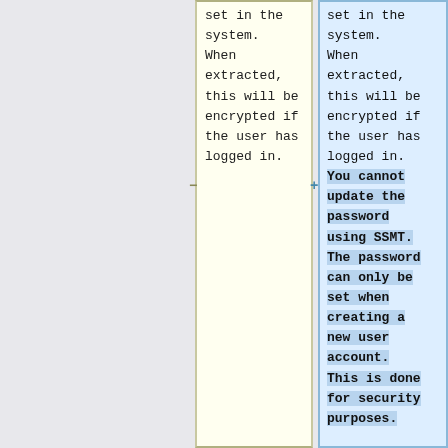set in the system. When extracted, this will be encrypted if the user has logged in.
set in the system. When extracted, this will be encrypted if the user has logged in. You cannot update the password using SSMT. The password can only be set when creating a new user account. This is done for security purposes.